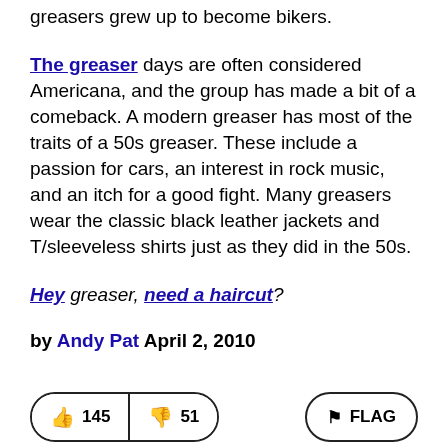greasers grew up to become bikers.
The greaser days are often considered Americana, and the group has made a bit of a comeback. A modern greaser has most of the traits of a 50s greaser. These include a passion for cars, an interest in rock music, and an itch for a good fight. Many greasers wear the classic black leather jackets and T/sleeveless shirts just as they did in the 50s.
Hey greaser, need a haircut?
by Andy Pat April 2, 2010
[Figure (other): Vote buttons: thumbs up 145, thumbs down 51, and a FLAG button on the right]